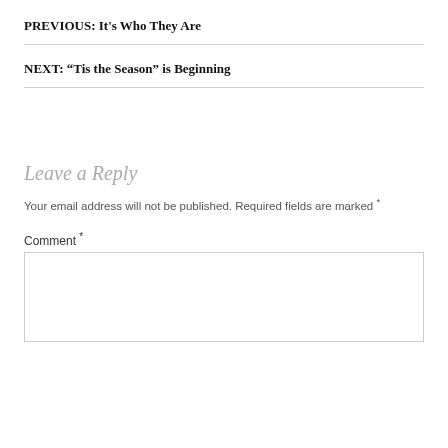PREVIOUS: It’s Who They Are
NEXT: “Tis the Season” is Beginning
Leave a Reply
Your email address will not be published. Required fields are marked *
Comment *